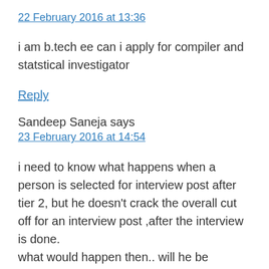22 February 2016 at 13:36
i am b.tech ee can i apply for compiler and statstical investigator
Reply
Sandeep Saneja says
23 February 2016 at 14:54
i need to know what happens when a person is selected for interview post after tier 2, but he doesn’t crack the overall cut off for an interview post ,after the interview is done.
what would happen then.. will he be rejected or he